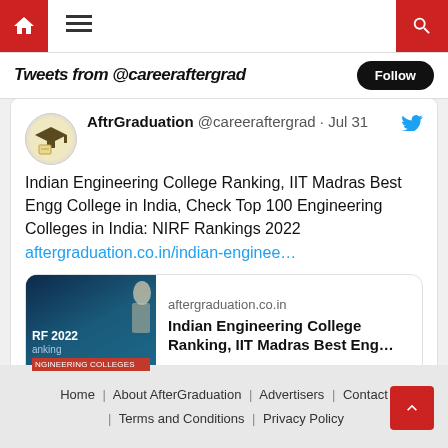Tweets from @careeraftergrad | Follow
[Figure (screenshot): Tweet from @careeraftergrad (AftrGraduation) dated Jul 31 about Indian Engineering College Ranking, IIT Madras Best Engg College in India, Check Top 100 Engineering Colleges in India: NIRF Rankings 2022, with link preview to aftergraduation.co.in]
AftrGraduation @careeraftergrad · Jul 31
Indian Engineering College Ranking, IIT Madras Best Engg College in India, Check Top 100 Engineering Colleges in India: NIRF Rankings 2022 aftergraduation.co.in/indian-enginee…
aftergraduation.co.in
Indian Engineering College Ranking, IIT Madras Best Eng…
Home | About AfterGraduation | Advertisers | Contact | Terms and Conditions | Privacy Policy